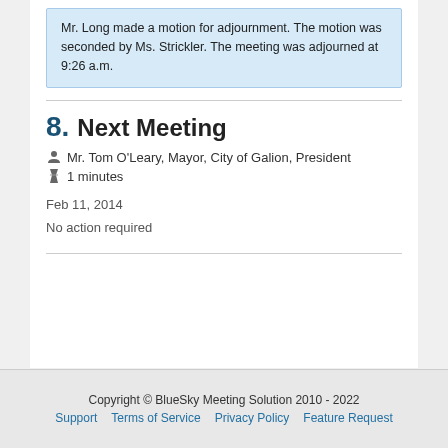Mr. Long made a motion for adjournment. The motion was seconded by Ms. Strickler. The meeting was adjourned at 9:26 a.m.
8. Next Meeting
Mr. Tom O'Leary, Mayor, City of Galion, President
1 minutes
Feb 11, 2014
No action required
Copyright © BlueSky Meeting Solution 2010 - 2022
Support   Terms of Service   Privacy Policy   Feature Request